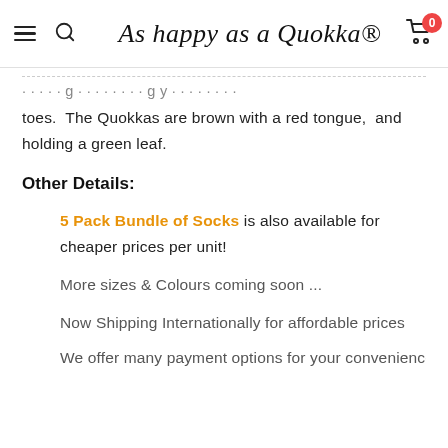As happy as a Quokka
toes.  The Quokkas are brown with a red tongue, and holding a green leaf.
Other Details:
5 Pack Bundle of Socks is also available for cheaper prices per unit!
More sizes & Colours coming soon ...
Now Shipping Internationally for affordable prices
We offer many payment options for your convenience and